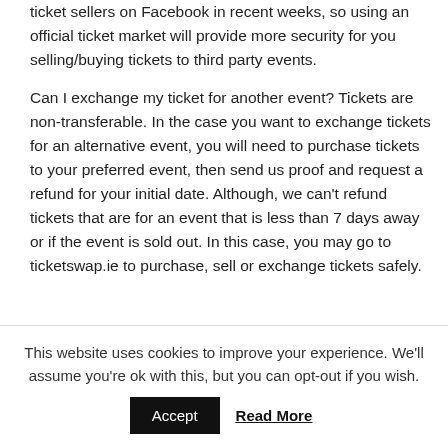ticket sellers on Facebook in recent weeks, so using an official ticket market will provide more security for you selling/buying tickets to third party events.
Can I exchange my ticket for another event? Tickets are non-transferable. In the case you want to exchange tickets for an alternative event, you will need to purchase tickets to your preferred event, then send us proof and request a refund for your initial date. Although, we can't refund tickets that are for an event that is less than 7 days away or if the event is sold out. In this case, you may go to ticketswap.ie to purchase, sell or exchange tickets safely.
A big group of us is attending, can we reserve a table?
This website uses cookies to improve your experience. We'll assume you're ok with this, but you can opt-out if you wish.